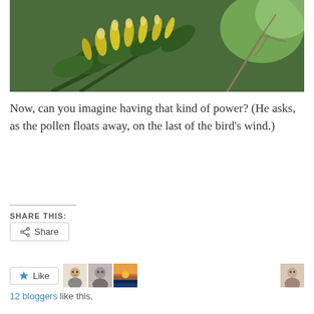[Figure (photo): Close-up photograph of a pine tree branch with yellow-green pollen cones and needle clusters against a blurred green foliage background]
Now, can you imagine having that kind of power? (He asks, as the pollen floats away, on the last of the bird’s wind.)
SHARE THIS:
Share
Like
12 bloggers like this.